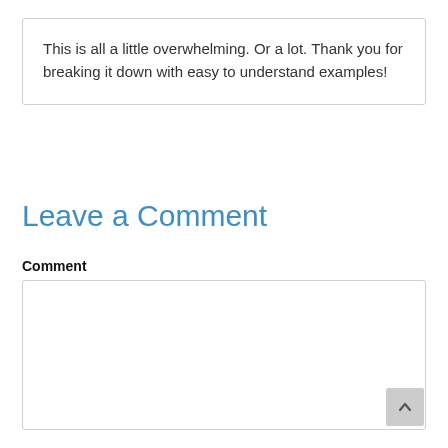This is all a little overwhelming. Or a lot. Thank you for breaking it down with easy to understand examples!
Reply
Leave a Comment
Comment
[Figure (other): Empty comment textarea input box]